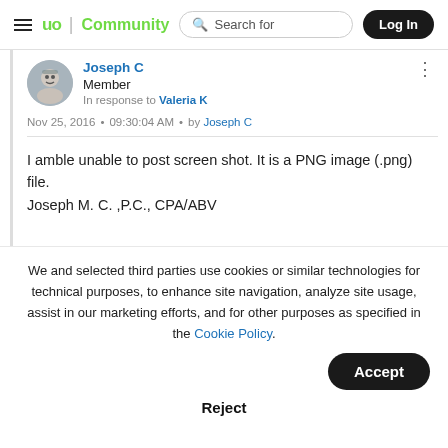≡ up | Community   Search for   Log In
Joseph C
Member
In response to Valeria K
Nov 25, 2016 • 09:30:04 AM • by Joseph C
I amble unable to post screen shot.  It is a PNG image (.png) file.
Joseph M. C. ,P.C., CPA/ABV
We and selected third parties use cookies or similar technologies for technical purposes, to enhance site navigation, analyze site usage, assist in our marketing efforts, and for other purposes as specified in the Cookie Policy.
Accept
Reject